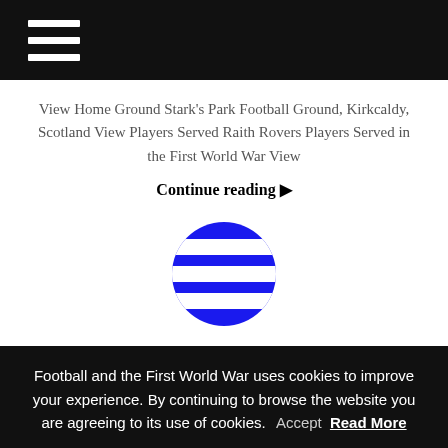Navigation menu (hamburger icon)
View Home Ground Stark's Park Football Ground, Kirkcaldy, Scotland View Players Served Raith Rovers Players Served in the First World War View
Continue reading ▶
[Figure (logo): Morton Football Club circular logo with blue and white horizontal stripes on a circle]
Morton Football Club and the First World War
MORTON FOOTBALL CLUB 1914/15 Squad Morton Scottish Football League Squad View 1914/15 Results
Football and the First World War uses cookies to improve your experience. By continuing to browse the website you are agreeing to its use of cookies. Accept Read More